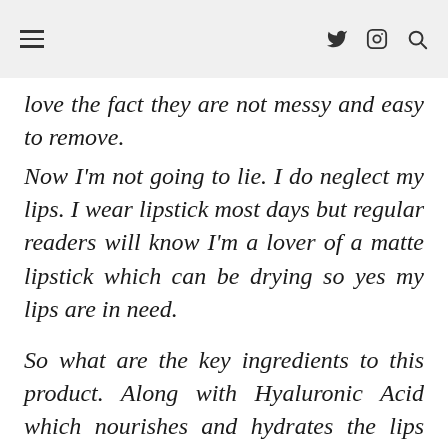≡  𝕏 📷 🔍
love the fact they are not messy and easy to remove.
Now I'm not going to lie. I do neglect my lips. I wear lipstick most days but regular readers will know I'm a lover of a matte lipstick which can be drying so yes my lips are in need.
So what are the key ingredients to this product. Along with Hyaluronic Acid which nourishes and hydrates the lips this product contains Beta